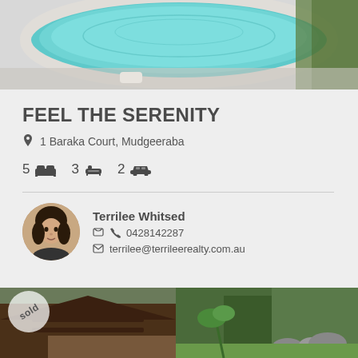[Figure (photo): Aerial view of a swimming pool with turquoise water surrounded by white paving]
FEEL THE SERENITY
1 Baraka Court, Mudgeeraba
5 [bed] 3 [bath] 2 [car]
Terrilee Whitsed
0428142287
terrilee@terrileerealty.com.au
[Figure (photo): Exterior photo of a property with timber deck, tropical plants and bushland backdrop. Sold badge visible.]